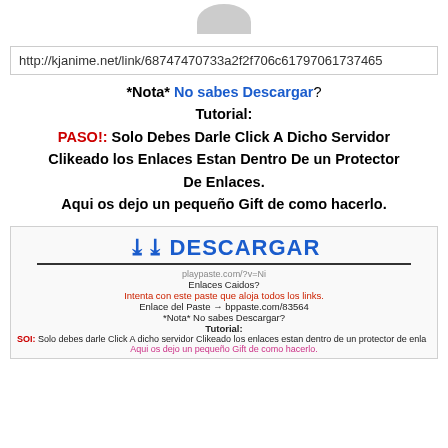[Figure (logo): Partial gray rounded logo/icon at top center]
http://kjanime.net/link/68747470733a2f2f706c61797061737465
*Nota* No sabes Descargar? Tutorial:
PASO!: Solo Debes Darle Click A Dicho Servidor Clikeado los Enlaces Estan Dentro De un Protector De Enlaces.
Aqui os dejo un pequeño Gift de como hacerlo.
[Figure (screenshot): Screenshot of a download button and tutorial instructions in Spanish, showing DESCARGAR button with blue chevron icon, URL playpaste.com, links info, and tutorial steps]